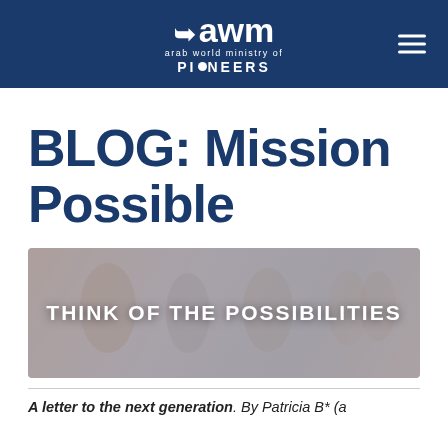awm arab world ministry of PIONEERS
BLOG: Mission Possible
[Figure (photo): Background image of people with overlay text 'THINK OF THE POSSIBILITIES']
A letter to the next generation. By Patricia B* (a